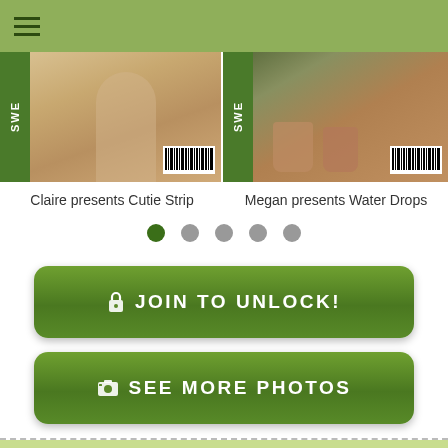Navigation bar with hamburger menu
[Figure (photo): Two magazine covers side by side: left shows 'Claire presents Cutie Strip' with sandy/beach background, right shows 'Megan presents Water Drops' with warm mugs on wood background. Both have green SWE spine labels and barcodes.]
Claire presents Cutie Strip
Megan presents Water Drops
Navigation dots: 5 dots, first one active (green)
🔒 JOIN TO UNLOCK!
📷 SEE MORE PHOTOS
Experience The Beauty And Grace of Being One